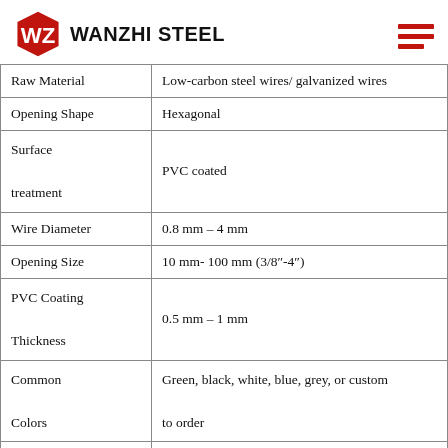Wanzhi Steel
| Property | Value |
| --- | --- |
| Raw Material | Low-carbon steel wires/ galvanized wires |
| Opening Shape | Hexagonal |
| Surface treatment | PVC coated |
| Wire Diameter | 0.8 mm – 4 mm |
| Opening Size | 10 mm- 100 mm (3/8"-4") |
| PVC Coating Thickness | 0.5 mm – 1 mm |
| Common Colors | Green, black, white, blue, grey, or custom to order |
| Processing | Normal twist and reverse twist |